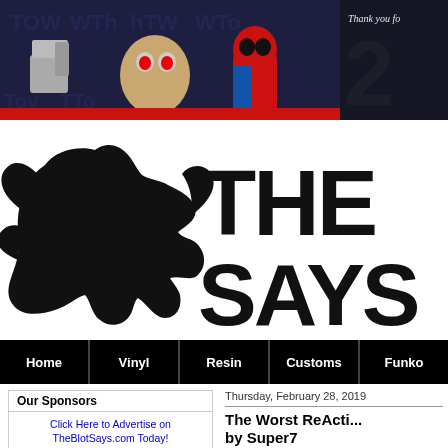[Figure (photo): Banner advertisement showing collectible toy figures including Ninja Turtles, Deadpool and others against a dark blue background, with 'Thank you fo...' text and partial number '2' on the right side]
[Figure (logo): The Blot Says website logo: black ink blot shape on left, bold distressed text 'THE SAYS' on right]
Home | Vinyl | Resin | Customs | Funko
Our Sponsors
Click Here to Advertise on TheBlotSays.com Today!
Thursday, February 28, 2019
The Worst ReActi... by Super7